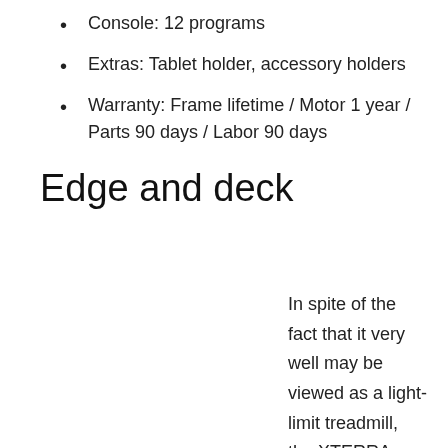Console: 12 programs
Extras: Tablet holder, accessory holders
Warranty: Frame lifetime / Motor 1 year / Parts 90 days / Labor 90 days
Edge and deck
In spite of the fact that it very well may be viewed as a light-limit treadmill, the XTERRA Fitness